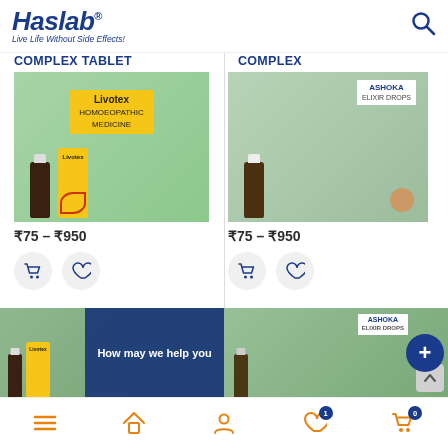[Figure (screenshot): Haslab website header with logo and search icon]
COMPLEX TABLET
COMPLEX
₹75 – ₹950
₹75 – ₹950
[Figure (photo): Banner showing Livotex and Ashoka Elixir Drops products with 'How may we help you' overlay and plus button]
Bottom navigation bar with menu, home, account, wishlist (1), cart (0) icons